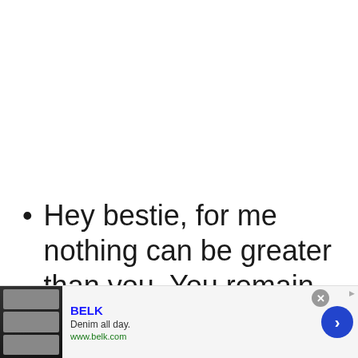Hey bestie, for me nothing can be greater than you. You remain my best friend ever since you came out of your mother's womb. Hu! I
[Figure (other): Advertisement banner for BELK - Denim all day. www.belk.com - with fashion images and a blue navigation arrow.]